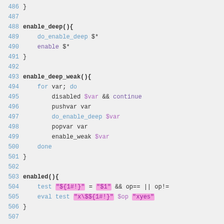[Figure (screenshot): Source code listing with line numbers 486-510, showing shell script functions: enable_deep(), enable_deep_weak(), enabled(), and disabled(). Syntax highlighted with blue keywords, purple variables, and pink/magenta highlighted string literals.]